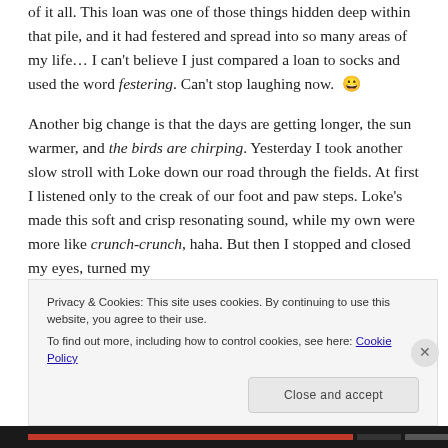of it all. This loan was one of those things hidden deep within that pile, and it had festered and spread into so many areas of my life… I can't believe I just compared a loan to socks and used the word festering. Can't stop laughing now. 😀
Another big change is that the days are getting longer, the sun warmer, and the birds are chirping. Yesterday I took another slow stroll with Loke down our road through the fields. At first I listened only to the creak of our foot and paw steps. Loke's made this soft and crisp resonating sound, while my own were more like crunch-crunch, haha. But then I stopped and closed my eyes, turned my
Privacy & Cookies: This site uses cookies. By continuing to use this website, you agree to their use.
To find out more, including how to control cookies, see here: Cookie Policy
Close and accept